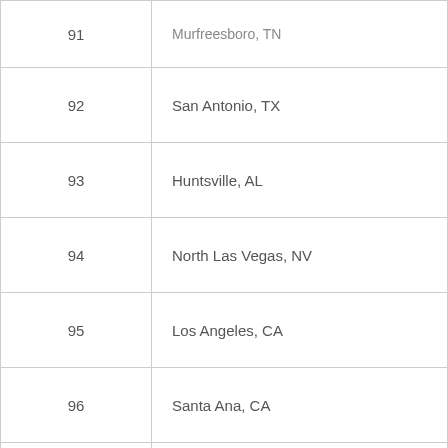| Rank | City |
| --- | --- |
| 91 | Murfreesboro, TN |
| 92 | San Antonio, TX |
| 93 | Huntsville, AL |
| 94 | North Las Vegas, NV |
| 95 | Los Angeles, CA |
| 96 | Santa Ana, CA |
| 97 | St. Louis, MO |
| 98 | Buffalo, NY |
| 99 | Anaheim, CA |
| 100 | Augusta, GA |